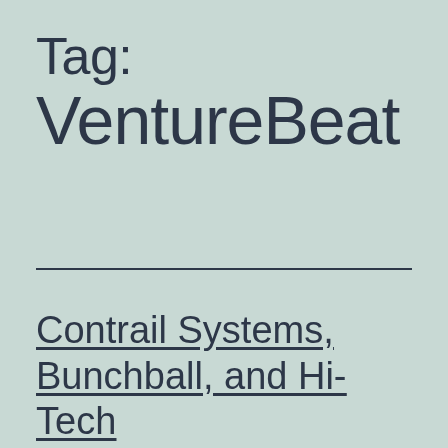Tag:
VentureBeat
Contrail Systems, Bunchball, and Hi-Tech Jeans: the Social 6 for